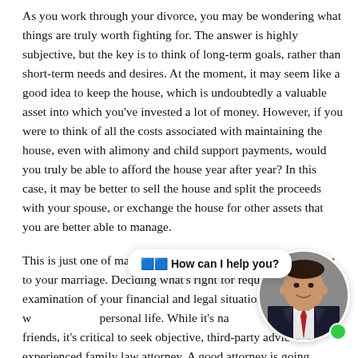As you work through your divorce, you may be wondering what things are truly worth fighting for. The answer is highly subjective, but the key is to think of long-term goals, rather than short-term needs and desires. At the moment, it may seem like a good idea to keep the house, which is undoubtedly a valuable asset into which you've invested a lot of money. However, if you were to think of all the costs associated with maintaining the house, even with alimony and child support payments, would you truly be able to afford the house year after year? In this case, it may be better to sell the house and split the proceeds with your spouse, or exchange the house for other assets that you are better able to manage.
This is just one of many issues that may or may not be relevant to your marriage. Deciding what's right for requires a careful examination of your financial and legal situation, as w[ell as your] personal life. While it's na[tural to lean on] [i]t friends, it's critical to seek objective, third-party advic[e from an] experienced family law attorney. A good attorney is going [to be]...
[Figure (photo): Circular avatar photo of a man in a suit with a red tie, professional headshot, with a green online indicator dot and a chat bubble overlay saying 'How can I help you?']